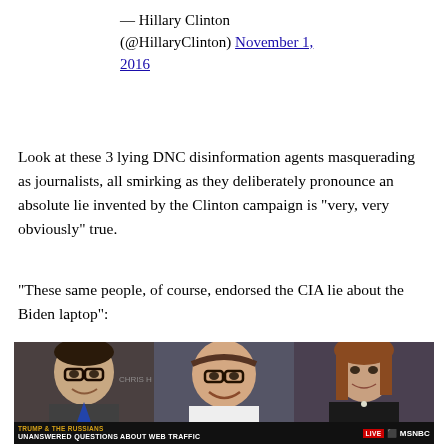— Hillary Clinton (@HillaryClinton) November 1, 2016
Look at these 3 lying DNC disinformation agents masquerading as journalists, all smirking as they deliberately pronounce an absolute lie invented by the Clinton campaign is “very, very obviously” true.
“These same people, of course, endorsed the CIA lie about the Biden laptop”:
[Figure (photo): MSNBC TV screenshot showing three journalists/panelists smiling. Lower bar shows 'TRUMP & THE RUSSIANS' and 'UNANSWERED QUESTIONS ABOUT WEB TRAFFIC' with LIVE badge and MSNBC logo.]